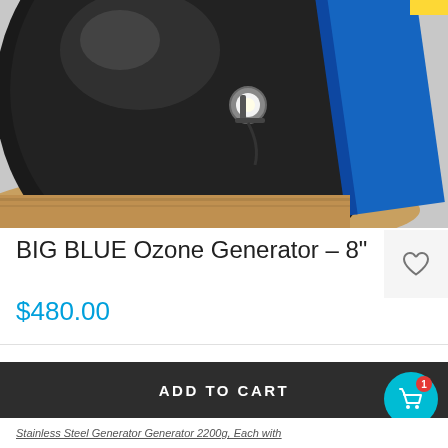[Figure (photo): Product photo showing an ozone generator device — a round black disc on a wooden surface with a light fixture attached, and a blue board in the background]
BIG BLUE Ozone Generator – 8"
$480.00
[Figure (logo): BIG BLUE brand logo with flame graphic]
ADD TO CART
Stainless Steel Generator Generator 2200g, Each with...